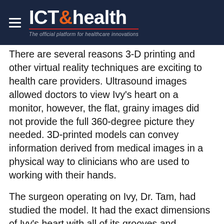ICT & health — The official platform for healthcare innovations
There are several reasons 3-D printing and other virtual reality techniques are exciting to health care providers. Ultrasound images allowed doctors to view Ivy's heart on a monitor, however, the flat, grainy images did not provide the full 360-degree picture they needed. 3D-printed models can convey information derived from medical images in a physical way to clinicians who are used to working with their hands.
The surgeon operating on Ivy, Dr. Tam, had studied the model. It had the exact dimensions of Ivy's heart with all of its grooves and chambers. He used it to map out his strategy well before the procedure.  There was "no eureka moment," Tam said.  "But the 3-D model made planning and visualizing the baby's heart defect much easier."